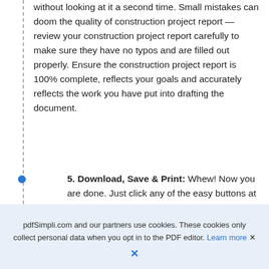without looking at it a second time. Small mistakes can doom the quality of construction project report — review your construction project report carefully to make sure they have no typos and are filled out properly. Ensure the construction project report is 100% complete, reflects your goals and accurately reflects the work you have put into drafting the document.
5. Download, Save & Print: Whew! Now you are done. Just click any of the easy buttons at the top of editor to download, save or print construction project report.
pdfSimpli.com and our partners use cookies. These cookies only collect personal data when you opt in to the PDF editor. Learn more ×  ×